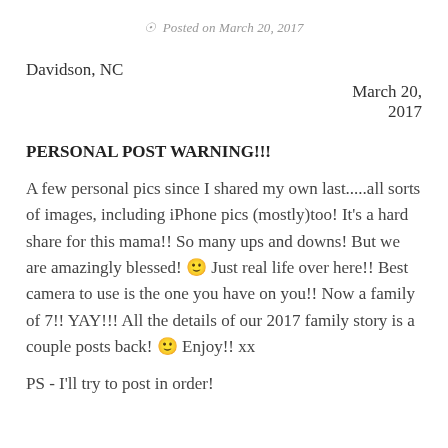Posted on March 20, 2017
Davidson, NC
March 20, 2017
PERSONAL POST WARNING!!!
A few personal pics since I shared my own last.....all sorts of images, including iPhone pics (mostly)too! It’s a hard share for this mama!! So many ups and downs! But we are amazingly blessed! 🙂 Just real life over here!! Best camera to use is the one you have on you!! Now a family of 7!! YAY!!! All the details of our 2017 family story is a couple posts back! 🙂 Enjoy!! xx
PS - I’ll try to post in order!